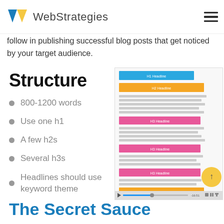WebStrategies
follow in publishing successful blog posts that get noticed by your target audience.
Structure
800-1200 words
Use one h1
A few h2s
Several h3s
Headlines should use keyword theme
[Figure (screenshot): Video thumbnail showing a blog post structure diagram with color-coded headline bars (H1 in blue, H2 in orange, H3 in pink) and gray text lines between them, with video progress bar at bottom]
The Secret Sauce